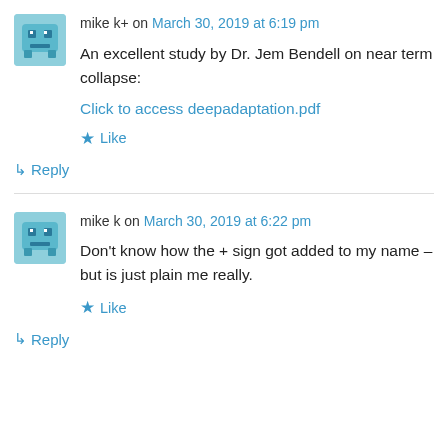mike k+ on March 30, 2019 at 6:19 pm
An excellent study by Dr. Jem Bendell on near term collapse:
Click to access deepadaptation.pdf
Like
↳ Reply
mike k on March 30, 2019 at 6:22 pm
Don't know how the + sign got added to my name – but is just plain me really.
Like
↳ Reply